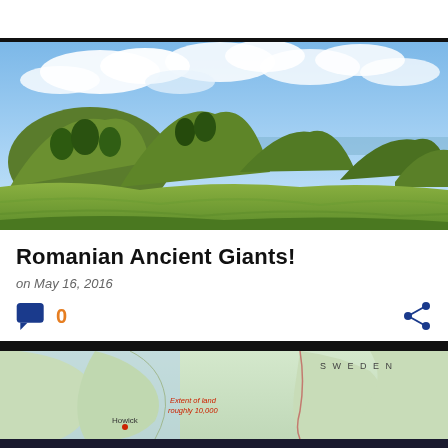[Figure (photo): Green grass mounds/hills under a partly cloudy blue sky — ancient burial mounds landscape]
Romanian Ancient Giants!
on May 16, 2016
0 comments, share icon
[Figure (map): Partial map showing Scandinavia/Northern Europe with Sweden labeled, Howick marked, and 'Extent of land roughly 10,000' text visible]